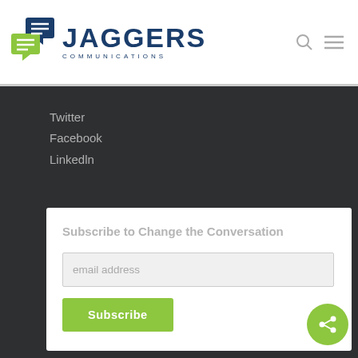[Figure (logo): Jaggers Communications logo with chat bubble icon and company name]
Twitter
Facebook
Linkedln
Subscribe to Change the Conversation
email address
Subscribe